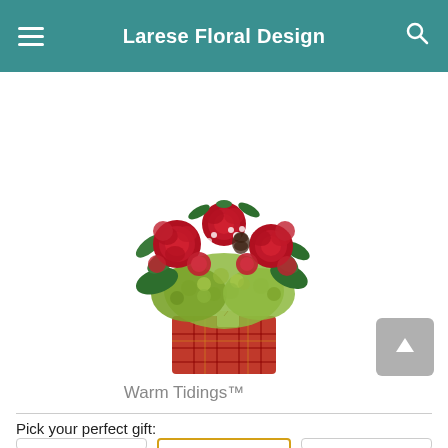Larese Floral Design
FREE Same Day Delivery ends in: 11:37:39
[Figure (photo): A floral arrangement called Warm Tidings featuring red roses, red carnations, green hydrangeas, and assorted greenery in a plaid red gift box container.]
Warm Tidings™
Pick your perfect gift: